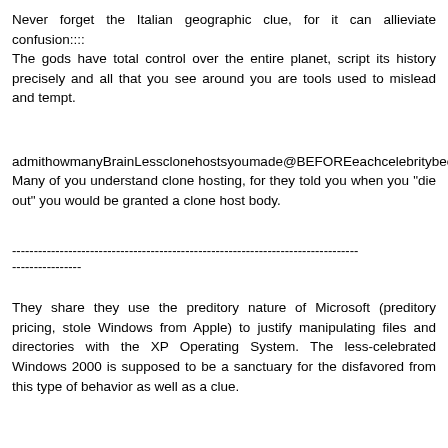Never forget the Italian geographic clue, for it can allieviate confusion::::
The gods have total control over the entire planet, script its history precisely and all that you see around you are tools used to mislead and tempt.
admithowmanyBrainLessclonehostsyoumade@BEFOREeachcelebritybecamefamous.com
Many of you understand clone hosting, for they told you when you "die out" you would be granted a clone host body.
--------------------------------------------------------------------------------
----------------
They share they use the preditory nature of Microsoft (preditory pricing, stole Windows from Apple) to justify manipulating files and directories with the XP Operating System. The less-celebrated Windows 2000 is supposed to be a sanctuary for the disfavored from this type of behavior as well as a clue.